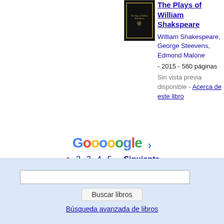[Figure (illustration): Book cover of The Plays of William Shakspeare, dark cover with gold emblem and text]
The Plays of William Shakspeare
William Shakespeare, George Steevens, Edmond Malone
- 2015 - 560 páginas
Sin vista previa disponible - Acerca de este libro
[Figure (other): Google pagination logo with colored letters Goooooogle and arrow]
1 2 3 4 5   Siguiente
Buscar libros search input and button
Búsqueda avanzada de libros